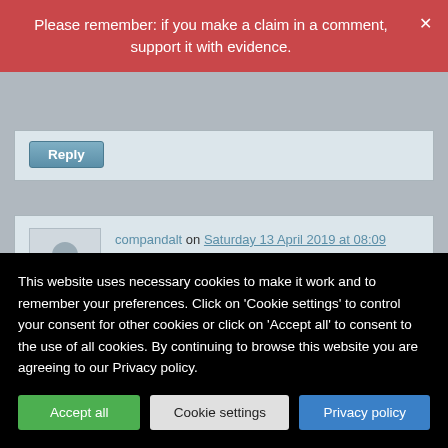Please remember: if you make a claim in a comment, support it with evidence.
compandalt on Saturday 13 April 2019 at 08:09
@DC Do you think that a chiropractor who treats “the broadest spectrum of health concerns” should be considered “orthodox”?
This website uses necessary cookies to make it work and to remember your preferences. Click on 'Cookie settings' to control your consent for other cookies or click on 'Accept all' to consent to the use of all cookies. By continuing to browse this website you are agreeing to our Privacy policy.